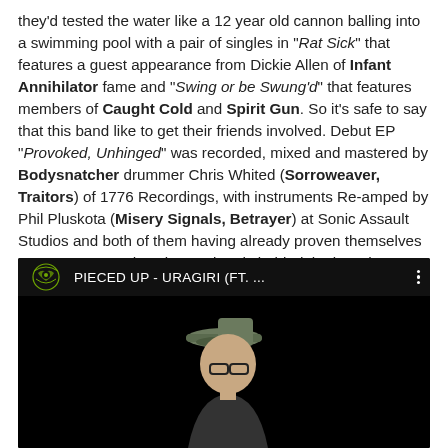they'd tested the water like a 12 year old cannon balling into a swimming pool with a pair of singles in "Rat Sick" that features a guest appearance from Dickie Allen of Infant Annihilator fame and "Swing or be Swung'd" that features members of Caught Cold and Spirit Gun. So it's safe to say that this band like to get their friends involved. Debut EP "Provoked, Unhinged" was recorded, mixed and mastered by Bodysnatcher drummer Chris Whited (Sorroweaver, Traitors) of 1776 Recordings, with instruments Re-amped by Phil Pluskota (Misery Signals, Betrayer) at Sonic Assault Studios and both of them having already proven themselves over many records to be a Wizards behind the boards.
[Figure (screenshot): YouTube video embed showing 'PIECED UP - URAGIRI (FT. ...' with a green band logo on dark background, video title bar, and a person wearing a cap visible in the video thumbnail against black background.]